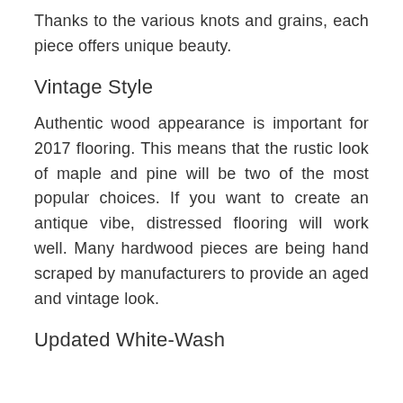Thanks to the various knots and grains, each piece offers unique beauty.
Vintage Style
Authentic wood appearance is important for 2017 flooring. This means that the rustic look of maple and pine will be two of the most popular choices. If you want to create an antique vibe, distressed flooring will work well. Many hardwood pieces are being hand scraped by manufacturers to provide an aged and vintage look.
Updated White-Wash